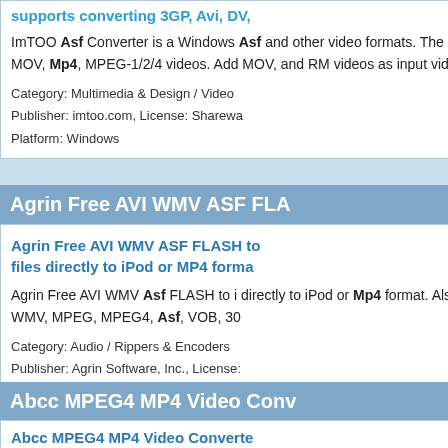supports converting 3GP, Avi, DV,...
ImTOO Asf Converter is a Windows... Asf and other video formats. The As... MOV, Mp4, MPEG-1/2/4 videos. Addo... MOV, and RM videos as input videos...
Category: Multimedia & Design / Video... Publisher: imtoo.com, License: Sharewa... Platform: Windows
Agrin Free AVI WMV ASF FLA...
Agrin Free AVI WMV ASF FLASH to... files directly to iPod or MP4 forma...
Agrin Free AVI WMV Asf FLASH to i... directly to iPod or Mp4 format. Also t... WMV, MPEG, MPEG4, Asf, VOB, 30...
Category: Audio / Rippers & Encoders... Publisher: Agrin Software, Inc., License:... Platform: Windows
Abcc MPEG4 MP4 Video Conv...
Abcc MPEG4 MP4 Video Converte... popular video formats to MP4 (MP... iPhone, MOV, FLV to MP4, such as...
Abcc MPEG4 Mp4 Video Converter f... formats to Mp4 (MPEG4). It can conv...